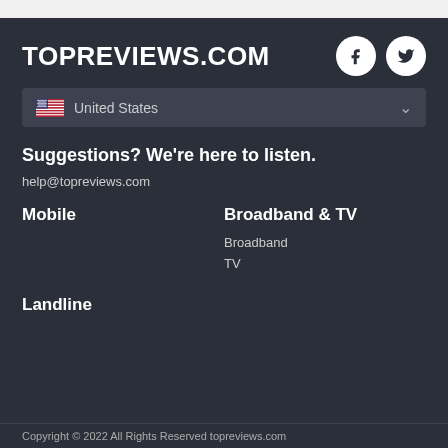TOPREVIEWS.COM
[Figure (logo): Facebook and Twitter circular social media icons]
United States
Suggestions? We're here to listen.
help@topreviews.com
Mobile
Broadband & TV
Broadband
TV
Landline
Copyright © 2022 All Rights Reserved topreviews.com